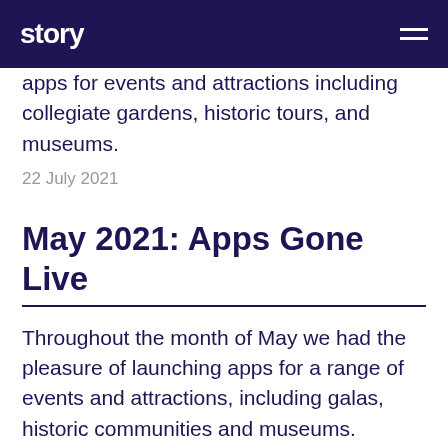story
apps for events and attractions including collegiate gardens, historic tours, and museums.
22 July 2021
May 2021: Apps Gone Live
Throughout the month of May we had the pleasure of launching apps for a range of events and attractions, including galas, historic communities and museums.
16 June 2021